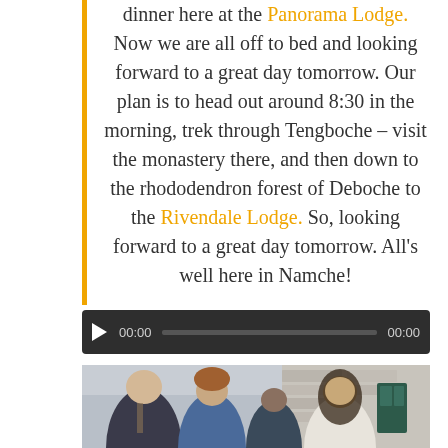dinner here at the Panorama Lodge. Now we are all off to bed and looking forward to a great day tomorrow. Our plan is to head out around 8:30 in the morning, trek through Tengboche – visit the monastery there, and then down to the rhododendron forest of Deboche to the Rivendale Lodge. So, looking forward to a great day tomorrow. All's well here in Namche!
[Figure (screenshot): Audio player widget with play button, time display 00:00, progress bar, and duration 00:00 on dark background]
[Figure (photo): Four people posing together for a photo outdoors in front of a stone building. From left to right: a tall man with a backpack, a person with reddish hair in a blue jacket, a shorter older man, and a man with long dark hair in a white shirt.]